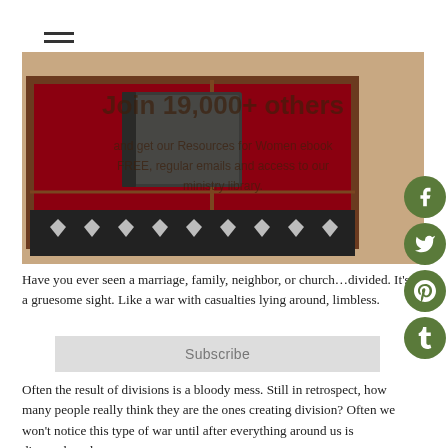[Figure (photo): Close-up photo of what appears to be a small leather-bound book or box on a red velvet surface inside a wooden display case, with a decorative black and white patterned background at the bottom.]
Join 19,000+ others and get our Resources for Women ebook FREE, regular emails and access to our ministry library.
Have you ever seen a marriage, family, neighbor, or church…divided. It's a gruesome sight. Like a war with casualties lying around, limbless.
Subscribe
Often the result of divisions is a bloody mess. Still in retrospect, how many people really think they are the ones creating division? Often we won't notice this type of war until after everything around us is dismembered.